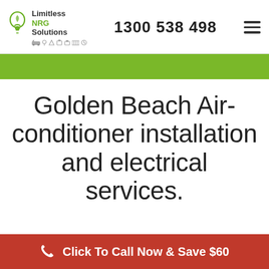Limitless NRG Solutions | 1300 538 498
Golden Beach Air-conditioner installation and electrical services.
Click To Call Now & Save $60